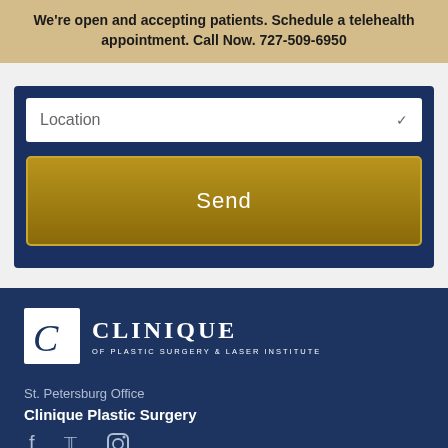We're open and accepting patients. Schedule a telehealth appointment. Call Now. 727-509-6950
[Figure (screenshot): Location dropdown selector with chevron arrow]
[Figure (screenshot): Gold Send button]
[Figure (logo): Clinique of Plastic Surgery & Laser Institute logo with stylized C in white box]
St. Petersburg Office
Clinique Plastic Surgery
[Figure (screenshot): Social media icons: Facebook, Twitter, Instagram]